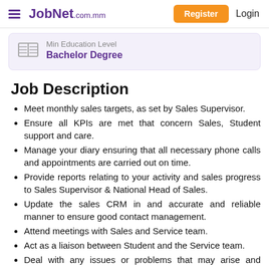JobNet.com.mm
Min Education Level
Bachelor Degree
Job Description
Meet monthly sales targets, as set by Sales Supervisor.
Ensure all KPIs are met that concern Sales, Student support and care.
Manage your diary ensuring that all necessary phone calls and appointments are carried out on time.
Provide reports relating to your activity and sales progress to Sales Supervisor & National Head of Sales.
Update the sales CRM in and accurate and reliable manner to ensure good contact management.
Attend meetings with Sales and Service team.
Act as a liaison between Student and the Service team.
Deal with any issues or problems that may arise and ensure these are addressed to student's satisfaction